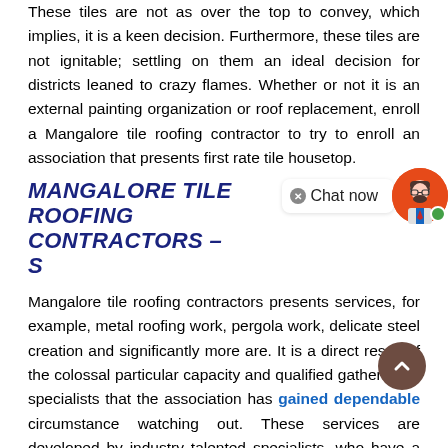These tiles are not as over the top to convey, which implies, it is a keen decision. Furthermore, these tiles are not ignitable; settling on them an ideal decision for districts leaned to crazy flames. Whether or not it is an external painting organization or roof replacement, enroll a Mangalore tile roofing contractor to try to enroll an association that presents first rate tile housetop.
MANGALORE TILE ROOFING CONTRACTORS - SERVICES
Mangalore tile roofing contractors presents services, for example, metal roofing work, pergola work, delicate steel creation and significantly more are. It is a direct result of the colossal particular capacity and qualified gathering of specialists that the association has gained dependable circumstance watching out. These services are developed by industry talented specialists, who have a previous appreciation of this space. They will deal with their work with significantly advanced measures at compelling gathering unit